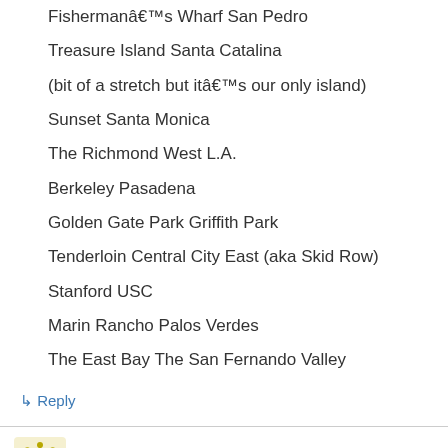Fisherman’s Wharf San Pedro
Treasure Island Santa Catalina
(bit of a stretch but it’s our only island)
Sunset Santa Monica
The Richmond West L.A.
Berkeley Pasadena
Golden Gate Park Griffith Park
Tenderloin Central City East (aka Skid Row)
Stanford USC
Marin Rancho Palos Verdes
The East Bay The San Fernando Valley
↳ Reply
B on February 2, 2007 at 7:24 pm
Tenderloin Brentwood